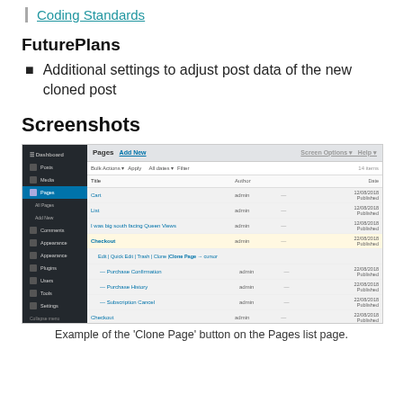Coding Standards
FuturePlans
Additional settings to adjust post data of the new cloned post
Screenshots
[Figure (screenshot): Example screenshot of WordPress admin Pages list page showing the Clone Page button/link visible in the row actions for a page entry.]
Example of the 'Clone Page' button on the Pages list page.